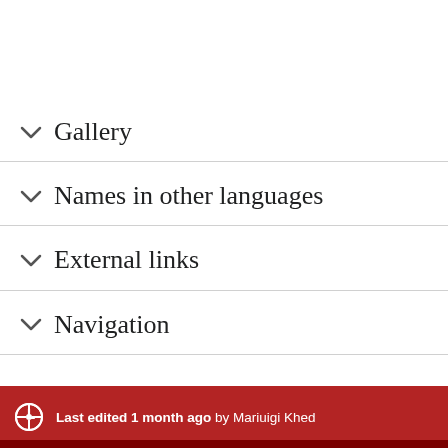Gallery
Names in other languages
External links
Navigation
Last edited 1 month ago by Mariuigi Khed